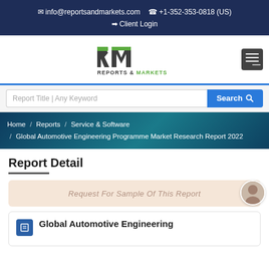✉ info@reportsandmarkets.com  ☎ +1-352-353-0818 (US)
➡ Client Login
[Figure (logo): Reports & Markets logo with green and dark RM letters]
Report Title | Any Keyword  Search
Home / Reports / Service & Software / Global Automotive Engineering Programme Market Research Report 2022
Report Detail
Request For Sample Of This Report
Global Automotive Engineering…